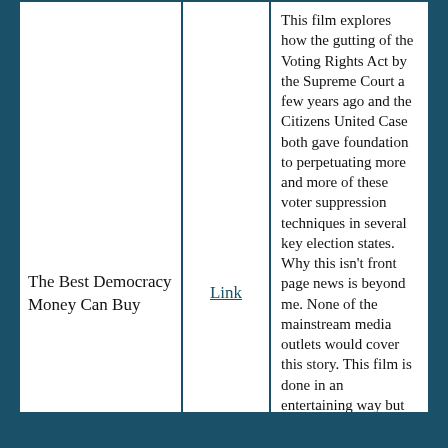| Title | Link | Description |
| --- | --- | --- |
| The Best Democracy Money Can Buy | Link | This film explores how the gutting of the Voting Rights Act by the Supreme Court a few years ago and the Citizens United Case both gave foundation to perpetuating more and more of these voter suppression techniques in several key election states. Why this isn't front page news is beyond me. None of the mainstream media outlets would cover this story. This film is done in an entertaining way but the message and truth it reveals is morally reprehensible and deplorable in modern day America. I highly recommend this film. You can watch it on Amazon for $2.00. |
| The Mask You Live In | Link | This film explores what it means to be "male" in this culture and the negative expectations and consequences of this to both men and women. I think this film should be shown in every school to help educate ourselves out of this very harmful mindset in our society. |